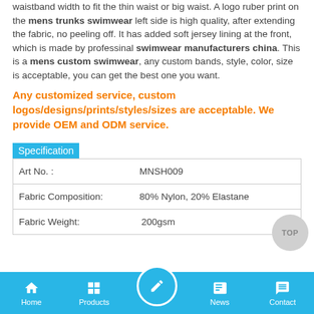waistband width to fit the thin waist or big waist. A logo ruber print on the mens trunks swimwear left side is high quality, after extending the fabric, no peeling off. It has added soft jersey lining at the front, which is made by professinal swimwear manufacturers china. This is a mens custom swimwear, any custom bands, style, color, size is acceptable, you can get the best one you want.
Any customized service, custom logos/designs/prints/styles/sizes are acceptable. We provide OEM and ODM service.
Specification
| Art No. : | MNSH009 |
| Fabric Composition: | 80% Nylon, 20% Elastane |
| Fabric Weight: | ...200gsm |
Home | Products | [icon] | News | Contact